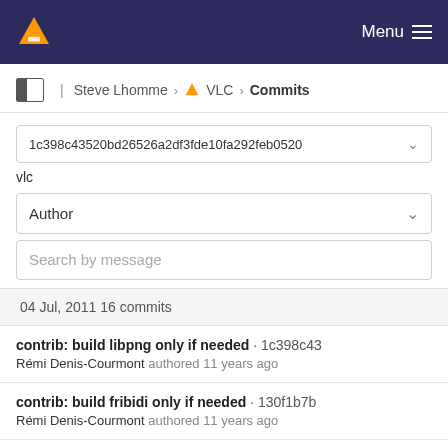Menu
Steve Lhomme > VLC > Commits
1c398c43520bd26526a2df3fde10fa292feb0520
vlc
Author
Search by message
04 Jul, 2011 16 commits
contrib: build libpng only if needed · 1c398c43
Rémi Denis-Courmont authored 11 years ago
contrib: build fribidi only if needed · 130f1b7b
Rémi Denis-Courmont authored 11 years ago